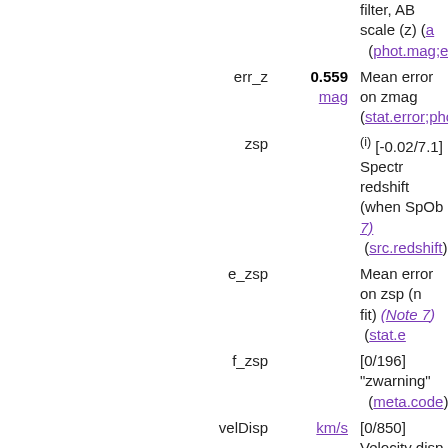filter, AB scale (z) (a... (phot.mag;em.opt....
err_z  0.559 mag  Mean error on zmag (stat.error;phot.mag)
zsp  (i) [-0.02/7.1] Spectr... redshift (when SpOb... 7) (src.redshift)
e_zsp  Mean error on zsp (n... fit) (Note 7) (stat.e...
f_zsp  [0/196] "zwarning" (meta.code)
velDisp  km/s  [0/850] Velocity disp... (velDisp) (phys.velo...
velDispErr  km/s  Mean error on Vdisp... (stat.error)
instrument  Spectral instrument... BOSS) (instrument)
sourceType  Source type (sourceT... of types) (Note) (sr...
spCl  Spectroscopic class: ... QSO, STAR (meta.code.class;po...
subClass  Spectroscopic sub...